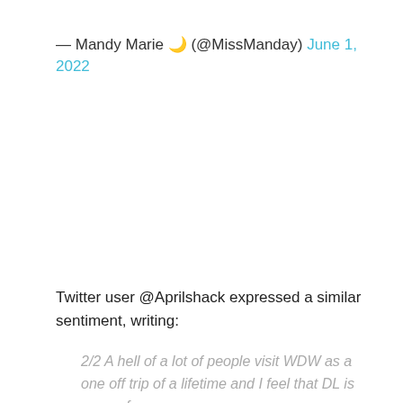— Mandy Marie 🌙 (@MissManday) June 1, 2022
Twitter user @Aprilshack expressed a similar sentiment, writing:
2/2 A hell of a lot of people visit WDW as a one off trip of a lifetime and I feel that DL is more of